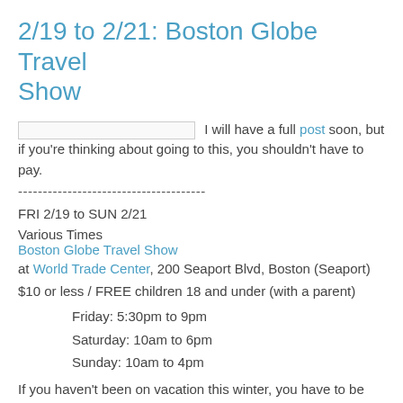2/19 to 2/21: Boston Globe Travel Show
I will have a full post soon, but if you're thinking about going to this, you shouldn't have to pay.
--------------------------------------
FRI 2/19 to SUN 2/21
Various Times
Boston Globe Travel Show
at World Trade Center, 200 Seaport Blvd, Boston (Seaport)
$10 or less / FREE children 18 and under (with a parent)
Friday: 5:30pm to 9pm
Saturday: 10am to 6pm
Sunday: 10am to 4pm
If you haven't been on vacation this winter, you have to be thinking about it. Most booths are set up to sell you